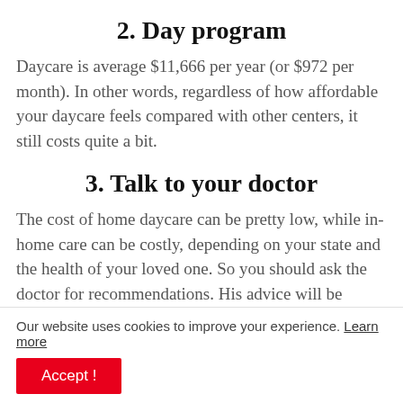2. Day program
Daycare is average $11,666 per year (or $972 per month). In other words, regardless of how affordable your daycare feels compared with other centers, it still costs quite a bit.
3. Talk to your doctor
The cost of home daycare can be pretty low, while in-home care can be costly, depending on your state and the health of your loved one. So you should ask the doctor for recommendations. His advice will be
Our website uses cookies to improve your experience. Learn more
Accept !